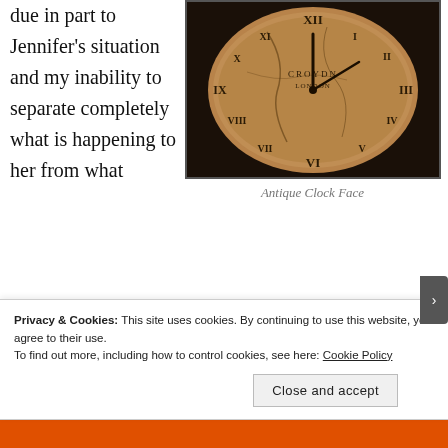due in part to Jennifer's situation and my inability to separate completely what is happening to her from what happened to Caitlin.
[Figure (photo): Close-up photograph of an antique clock face with Roman numerals, aged and weathered brown wooden surface, brand marks visible]
Antique Clock Face
happened to Caitlin. Last night when Alexis called me to give me an update, she said that she was afraid to call me because I always seemed to get upset. I told her that I wanted her to call, that I needed to know what was going
Privacy & Cookies: This site uses cookies. By continuing to use this website, you agree to their use.
To find out more, including how to control cookies, see here: Cookie Policy
Close and accept